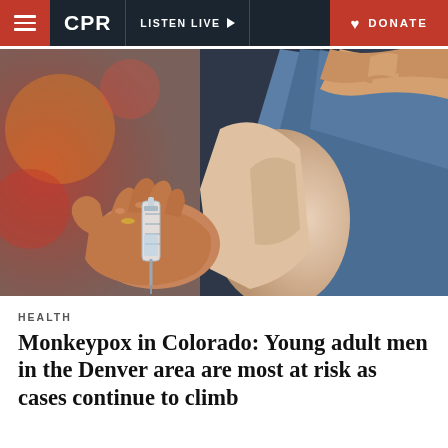CPR | LISTEN LIVE | DONATE
[Figure (photo): Close-up photo of a healthcare worker's hand administering a vaccine injection into a person's upper arm. The patient is wearing a blue shirt and the provider is wearing a ring.]
HEALTH
Monkeypox in Colorado: Young adult men in the Denver area are most at risk as cases continue to climb